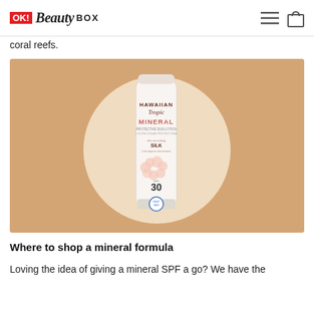OK! Beauty BOX
coral reefs.
[Figure (photo): Hawaiian Tropic Mineral Protective Sun Lotion SPF 30 tube lying flat on a beige/tan background with a cream-colored circle behind it. The tube is white with pink floral illustrations and branding text.]
Where to shop a mineral formula
Loving the idea of giving a mineral SPF a go? We have the